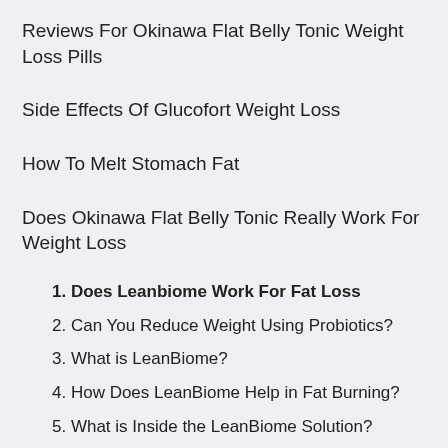Reviews For Okinawa Flat Belly Tonic Weight Loss Pills
Side Effects Of Glucofort Weight Loss
How To Melt Stomach Fat
Does Okinawa Flat Belly Tonic Really Work For Weight Loss
1. Does Leanbiome Work For Fat Loss
2. Can You Reduce Weight Using Probiotics?
3. What is LeanBiome?
4. How Does LeanBiome Help in Fat Burning?
5. What is Inside the LeanBiome Solution?
6. Where to Purchase LeanBiome? Is it Cost